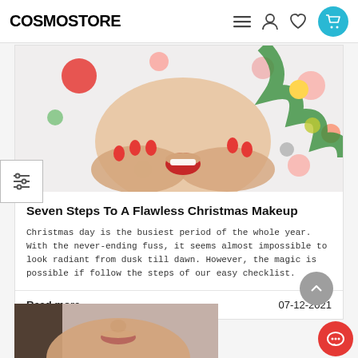COSMOSTORE
[Figure (photo): Woman with Christmas makeup, holding face with red nails, Christmas tree decorations in background]
Seven Steps To A Flawless Christmas Makeup
Christmas day is the busiest period of the whole year. With the never-ending fuss, it seems almost impossible to look radiant from dusk till dawn. However, the magic is possible if follow the steps of our easy checklist.
Read more
07-12-2021
[Figure (photo): Partial view of woman's lower face, dark hair visible]